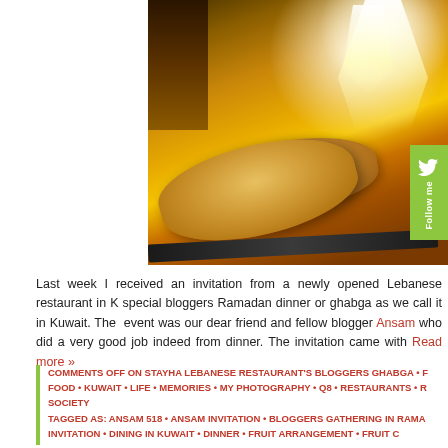[Figure (photo): A photo of Lebanese bread (pita/flatbread) being baked in a traditional oven with golden/orange fire tones and white flames in the background]
Last week I received an invitation from a newly opened Lebanese restaurant in K… special bloggers Ramadan dinner or ghabga as we call it in Kuwait. The event was… our dear friend and fellow blogger Ansam who did a very good job indeed from… dinner. The invitation came with Read more »
COMMENTS OFF ON STAYHA LEBANESE RESTAURANT'S BLOGGERS GHABGA • F… FOOD • KUWAIT • LIFE • MEMORIES • MY PHOTOGRAPHY • Q8 • RESTAURANTS • R… SOCIETY
TAGGED AS: ANSAM 518 • ANSAM INVITATION • BLOGGERS GATHERING IN RAMA… INVITATION • DINING IN KUWAIT • DINNER • FRUIT ARRANGEMENT • FRUIT C…